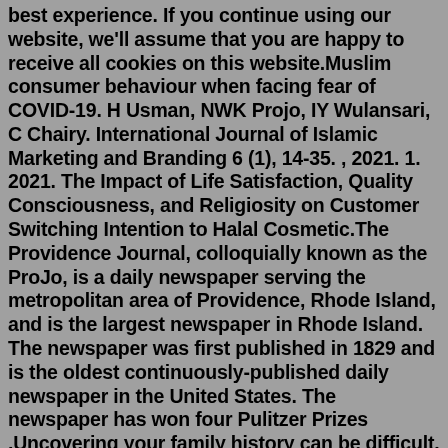best experience. If you continue using our website, we'll assume that you are happy to receive all cookies on this website.Muslim consumer behaviour when facing fear of COVID-19. H Usman, NWK Projo, IY Wulansari, C Chairy. International Journal of Islamic Marketing and Branding 6 (1), 14-35. , 2021. 1. 2021. The Impact of Life Satisfaction, Quality Consciousness, and Religiosity on Customer Switching Intention to Halal Cosmetic.The Providence Journal, colloquially known as the ProJo, is a daily newspaper serving the metropolitan area of Providence, Rhode Island, and is the largest newspaper in Rhode Island. The newspaper was first published in 1829 and is the oldest continuously-published daily newspaper in the United States. The newspaper has won four Pulitzer Prizes .Uncovering your family history can be difficult. Providence Journal obits are an excellent source of information about those long-lost family members in Providence, Rhode Island. With the Providence Journal obituary archives being one of the leading sources for